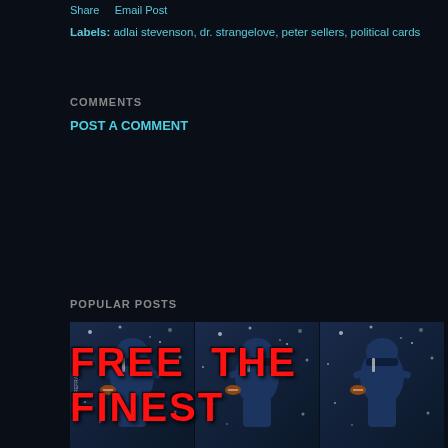Share   Email Post
Labels: adlai stevenson, dr. strangelove, peter sellers, political cards
COMMENTS
POST A COMMENT
POPULAR POSTS
[Figure (photo): Three repeated football trading cards showing a quarterback in a dark jersey, with bold red text overlay reading FREE THE FINEST]